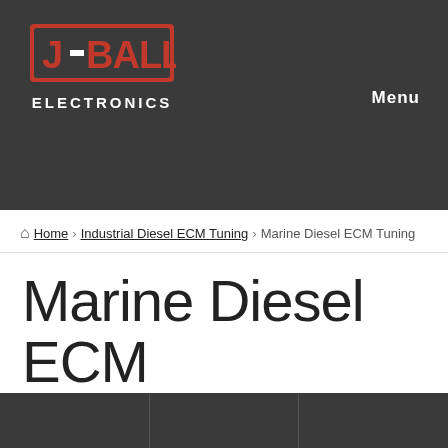[Figure (logo): J-Ball Electronics logo with red bold text on dark background, with 'ELECTRONICS' subtitle in white]
Menu
Home › Industrial Diesel ECM Tuning › Marine Diesel ECM Tuning
Marine Diesel ECM Tuning